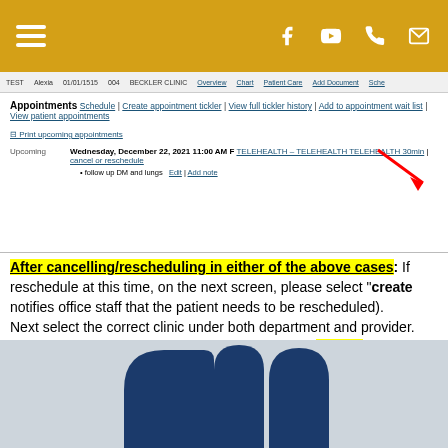[Figure (screenshot): Gold navigation bar with hamburger menu, Facebook, YouTube, phone, and email icons]
[Figure (screenshot): EHR appointments screen showing upcoming appointment: Wednesday, December 22, 2021 11:00 AM TELEHEALTH - TELEHEALTH TELEHEALTH 30min | cancel or reschedule. Follow up DM and lungs. Red arrow pointing to cancel or reschedule link.]
After cancelling/rescheduling in either of the above cases: If reschedule at this time, on the next screen, please select "create notifies office staff that the patient needs to be rescheduled). Next select the correct clinic under both department and provider. when the tickler will appear, so please indicate TODAY and incl for appointment and any other relevant information.
[Figure (logo): Partial blue logo/icon shapes at the bottom of the page on a grey background]